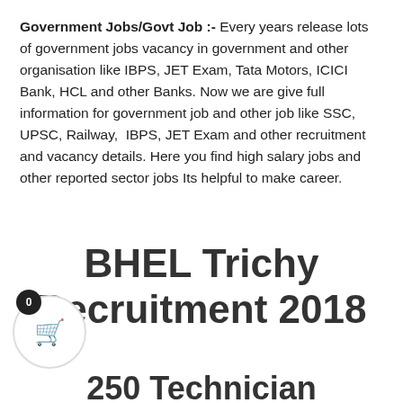Government Jobs/Govt Job :- Every years release lots of government jobs vacancy in government and other organisation like IBPS, JET Exam, Tata Motors, ICICI Bank, HCL and other Banks. Now we are give full information for government job and other job like SSC, UPSC, Railway, IBPS, JET Exam and other recruitment and vacancy details. Here you find high salary jobs and other reported sector jobs Its helpful to make career.
BHEL Trichy Recruitment 2018
250 Technician Apprentice